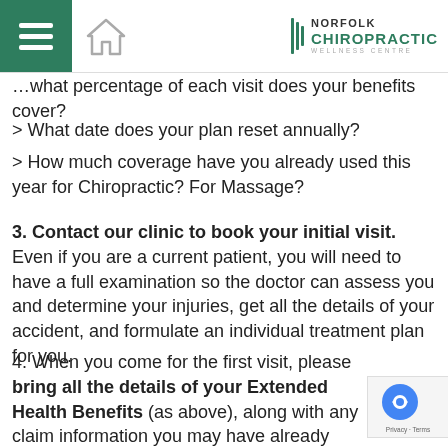Norfolk Chiropractic Wellness Centre – navigation bar
What percentage of each visit does your benefits cover?
> What date does your plan reset annually?
> How much coverage have you already used this year for Chiropractic? For Massage?
3. Contact our clinic to book your initial visit. Even if you are a current patient, you will need to have a full examination so the doctor can assess you and determine your injuries, get all the details of your accident, and formulate an individual treatment plan for you.
4. When you come for the first visit, please bring all the details of your Extended Health Benefits (as above), along with any claim information you may have already received from your auto insurance. This will allow us to set up your MVA file and make...